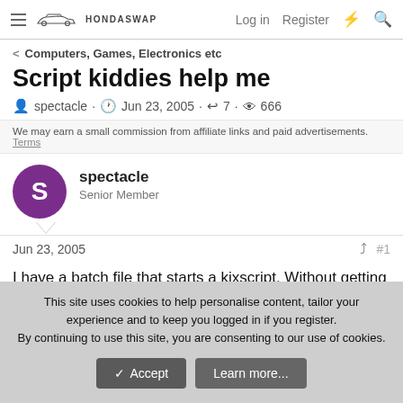HondaSwap — Log in  Register
Computers, Games, Electronics etc
Script kiddies help me
spectacle · Jun 23, 2005 · 7 · 666
We may earn a small commission from affiliate links and paid advertisements. Terms
spectacle
Senior Member
Jun 23, 2005  #1
I have a batch file that starts a kixscript. Without getting into too many details, I need this script to run continously as it updates a number of files that used for load balancing 3 antivirus servers
This site uses cookies to help personalise content, tailor your experience and to keep you logged in if you register.
By continuing to use this site, you are consenting to our use of cookies.